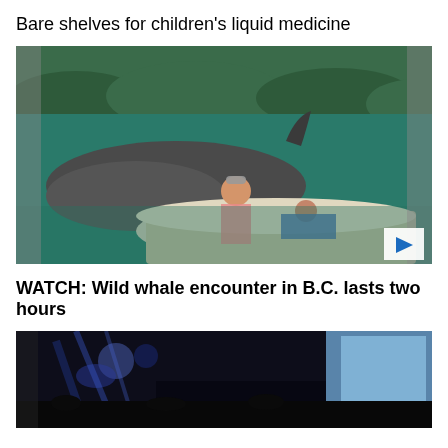Bare shelves for children's liquid medicine
[Figure (photo): Photo of a woman and child on a small inflatable boat with a large whale surfacing beside them on green ocean water with forested shoreline in background. A play button icon is visible at bottom right.]
WATCH: Wild whale encounter in B.C. lasts two hours
[Figure (photo): Partially visible dark photo of what appears to be a concert or event with blue stage lights and a bright screen in the background.]